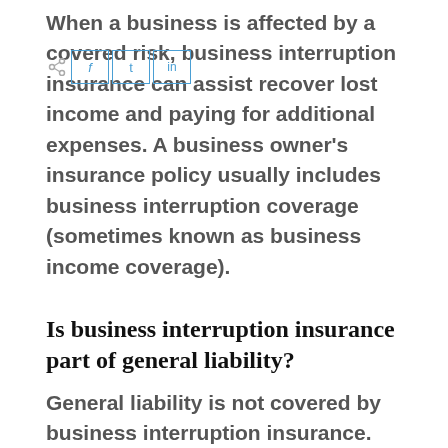When a business is affected by a covered risk, business interruption insurance can assist recover lost income and paying for additional expenses. A business owner's insurance policy usually includes business interruption coverage (sometimes known as business income coverage).
Is business interruption insurance part of general liability?
General liability is not covered by business interruption insurance. Many of the most common dangers that organizations face are covered by general liability insurance. It's